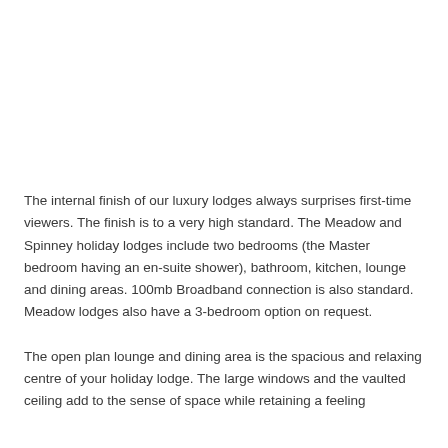The internal finish of our luxury lodges always surprises first-time viewers. The finish is to a very high standard. The Meadow and Spinney holiday lodges include two bedrooms (the Master bedroom having an en-suite shower), bathroom, kitchen, lounge and dining areas. 100mb Broadband connection is also standard. Meadow lodges also have a 3-bedroom option on request.
The open plan lounge and dining area is the spacious and relaxing centre of your holiday lodge. The large windows and the vaulted ceiling add to the sense of space while retaining a feeling